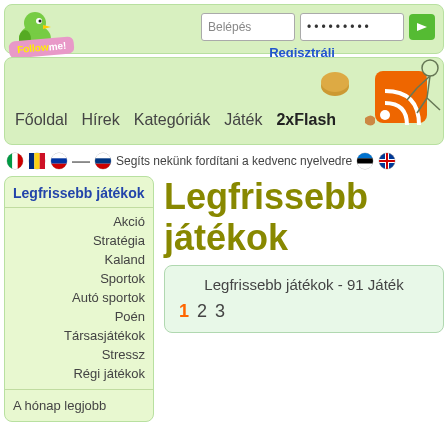[Figure (screenshot): Website header with Follow me logo, login fields (Belépés, password dots), green arrow button, and Regisztrálj link]
[Figure (screenshot): Navigation bar with RSS icon illustration and links: Főoldal Hírek Kategóriák Játék 2xFlash]
Segíts nekünk fordítani a kedvenc nyelvedre
Legfrissebb játékok
Akció
Stratégia
Kaland
Sportok
Autó sportok
Poén
Társasjátékok
Stressz
Régi játékok
Legfrissebb játékok
Legfrissebb játékok - 91 Játék
1  2  3
A hónap legjobb